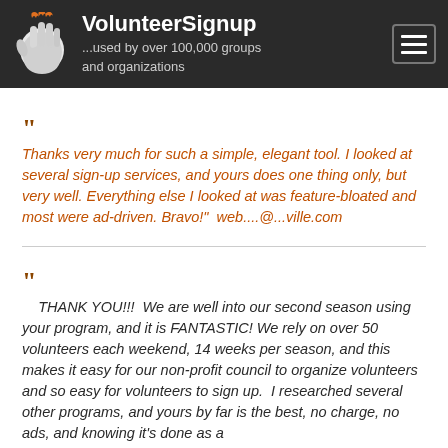VolunteerSignup ...used by over 100,000 groups and organizations
" Thanks very much for such a simple, elegant tool. I looked at several sign-up services, and yours does one thing only, but very well. Everything else I looked at was feature-bloated and most were ad-driven. Bravo!" web....@...ville.com
" THANK YOU!!! We are well into our second season using your program, and it is FANTASTIC! We rely on over 50 volunteers each weekend, 14 weeks per season, and this makes it easy for our non-profit council to organize volunteers and so easy for volunteers to sign up. I researched several other programs, and yours by far is the best, no charge, no ads, and knowing it's done as a